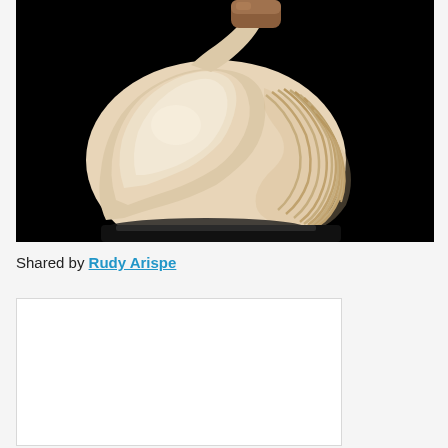[Figure (photo): A meerschaum pipe with a smooth cream/white bowl with carved ridged texture on the right side and a brown wooden stem, photographed against a black background.]
Shared by Rudy Arispe